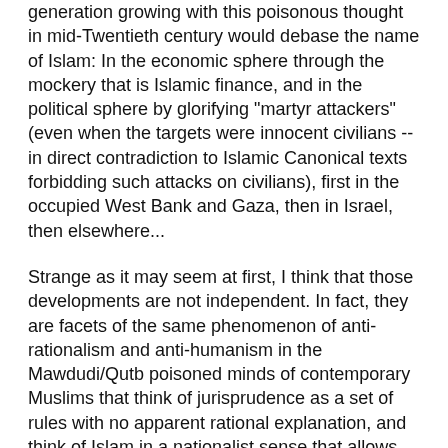generation growing with this poisonous thought in mid-Twentieth century would debase the name of Islam: In the economic sphere through the mockery that is Islamic finance, and in the political sphere by glorifying "martyr attackers" (even when the targets were innocent civilians -- in direct contradiction to Islamic Canonical texts forbidding such attacks on civilians), first in the occupied West Bank and Gaza, then in Israel, then elsewhere...
Strange as it may seem at first, I think that those developments are not independent. In fact, they are facets of the same phenomenon of anti-rationalism and anti-humanism in the Mawdudi/Qutb poisoned minds of contemporary Muslims that think of jurisprudence as a set of rules with no apparent rational explanation, and think of Islam in a nationalist sense that allows them to commit abhorable criminal acts ostensibly in the name of Islam.
This is difficult for me to say, but I remembered a statement made to me a few years ago by an ex-US ambassador to the Kingdom of Saudi Arabia. "The problem with Islam is that it has not yet had its reformation", he said. I argued with him